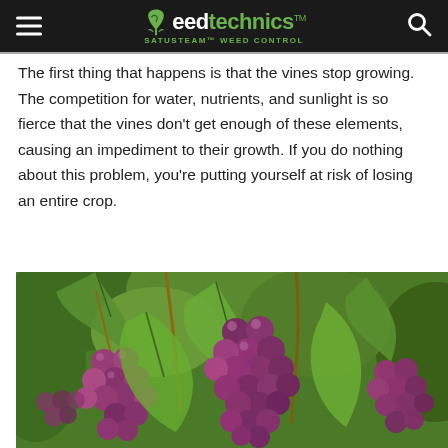Weedtechnics™ SATUSTEAM™ WEED CONTROL
The first thing that happens is that the vines stop growing. The competition for water, nutrients, and sunlight is so fierce that the vines don't get enough of these elements, causing an impediment to their growth. If you do nothing about this problem, you're putting yourself at risk of losing an entire crop.
[Figure (photo): Close-up photograph of clusters of ripe purple/red grapes hanging on a vine with green leaves in the background]